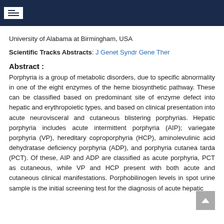University of Alabama at Birmingham, USA
Scientific Tracks Abstracts: J Genet Syndr Gene Ther
Abstract :
Porphyria is a group of metabolic disorders, due to specific abnormality in one of the eight enzymes of the heme biosynthetic pathway. These can be classified based on predominant site of enzyme defect into hepatic and erythropoietic types, and based on clinical presentation into acute neurovisceral and cutaneous blistering porphyrias. Hepatic porphyria includes acute intermittent porphyria (AIP); variegate porphyria (VP), hereditary coproporphyria (HCP), aminolevulinic acid dehydratase deficiency porphyria (ADP), and porphyria cutanea tarda (PCT). Of these, AIP and ADP are classified as acute porphyria, PCT as cutaneous, while VP and HCP present with both acute and cutaneous clinical manifestations. Porphobilinogen levels in spot urine sample is the initial screening test for the diagnosis of acute hepatic